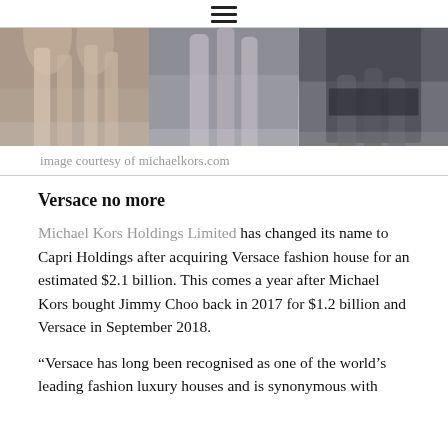☰
[Figure (photo): Fashion runway models' legs walking on catwalk, three panels side by side, image courtesy of michaelkors.com]
image courtesy of michaelkors.com
Versace no more
Michael Kors Holdings Limited has changed its name to Capri Holdings after acquiring Versace fashion house for an estimated $2.1 billion. This comes a year after Michael Kors bought Jimmy Choo back in 2017 for $1.2 billion and Versace in September 2018.
“Versace has long been recognised as one of the world’s leading fashion luxury houses and is synonymous with